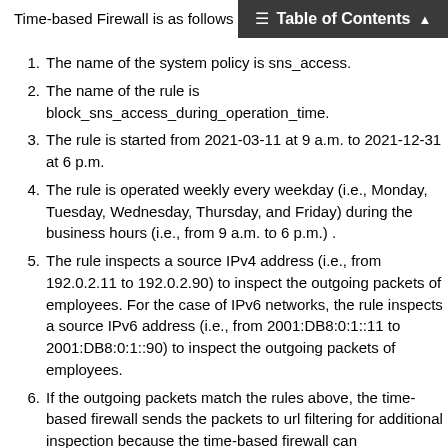Table of Contents
Time-based Firewall is as follows
1. The name of the system policy is sns_access.
2. The name of the rule is block_sns_access_during_operation_time.
3. The rule is started from 2021-03-11 at 9 a.m. to 2021-12-31 at 6 p.m.
4. The rule is operated weekly every weekday (i.e., Monday, Tuesday, Wednesday, Thursday, and Friday) during the business hours (i.e., from 9 a.m. to 6 p.m.) .
5. The rule inspects a source IPv4 address (i.e., from 192.0.2.11 to 192.0.2.90) to inspect the outgoing packets of employees. For the case of IPv6 networks, the rule inspects a source IPv6 address (i.e., from 2001:DB8:0:1::11 to 2001:DB8:0:1::90) to inspect the outgoing packets of employees.
6. If the outgoing packets match the rules above, the time-based firewall sends the packets to url filtering for additional inspection because the time-based firewall can